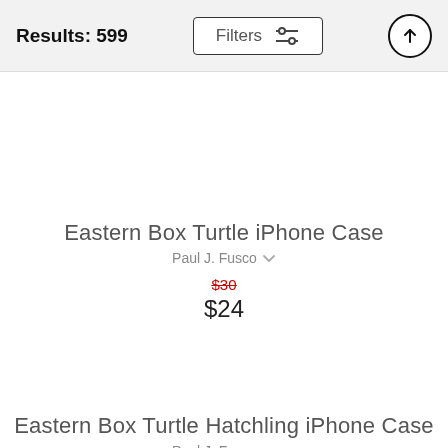Results: 599
Eastern Box Turtle iPhone Case
Paul J. Fusco
$30
$24
Eastern Box Turtle Hatchling iPhone Case
Paul J. Fusco
$30
$24